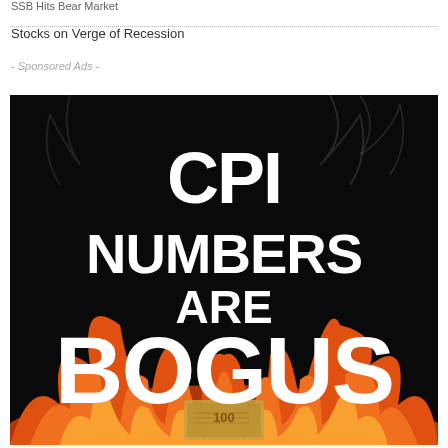SSB Hits Bear Market
Stocks on Verge of Recession
- Sponsored Ads -
[Figure (illustration): Advertisement image with black background and flames showing text 'CPI NUMBERS ARE BOGUS' in large bold white letters, with a burning 100 dollar bill at the bottom.]